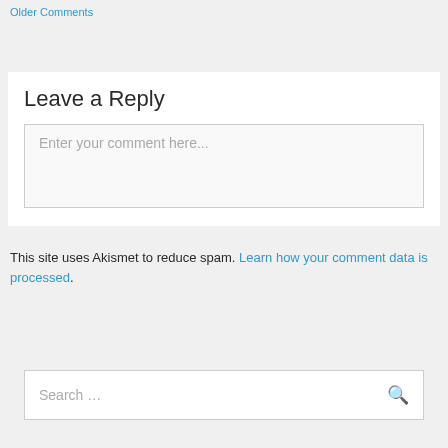Older Comments
Leave a Reply
Enter your comment here...
This site uses Akismet to reduce spam. Learn how your comment data is processed.
Search …